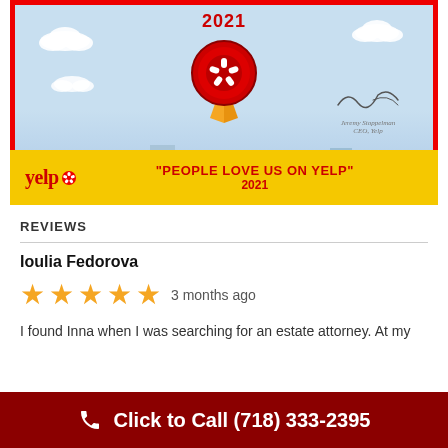[Figure (illustration): Yelp 'People Love Us On Yelp' 2021 award certificate with a red border, light blue sky background with clouds, a red Yelp medal badge with ribbon, a signature, and a yellow footer band with Yelp logo and the text 'PEOPLE LOVE US ON YELP' 2021.]
REVIEWS
Ioulia Fedorova
★★★★★ 3 months ago
I found Inna when I was searching for an estate attorney. At my
Click to Call (718) 333-2395